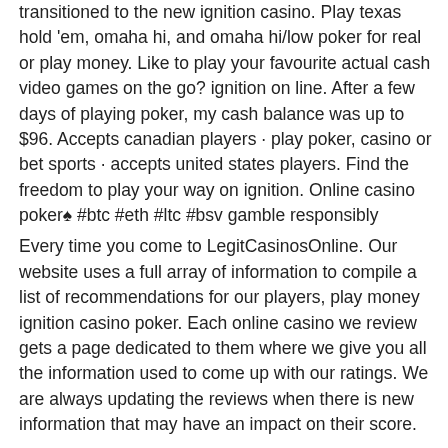transitioned to the new ignition casino. Play texas hold 'em, omaha hi, and omaha hi/low poker for real or play money. Like to play your favourite actual cash video games on the go? ignition on line. After a few days of playing poker, my cash balance was up to $96. Accepts canadian players · play poker, casino or bet sports · accepts united states players. Find the freedom to play your way on ignition. Online casino   poker♠ #btc #eth #ltc #bsv gamble responsibly
Every time you come to LegitCasinosOnline. Our website uses a full array of information to compile a list of recommendations for our players, play money ignition casino poker. Each online casino we review gets a page dedicated to them where we give you all the information used to come up with our ratings. We are always updating the reviews when there is new information that may have an impact on their score.